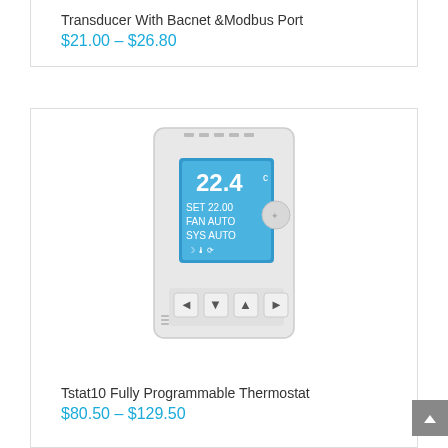Transducer With Bacnet &Modbus Port
$21.00 – $26.80
[Figure (photo): Tstat10 Fully Programmable Thermostat device showing blue LCD display with temperature reading 22.4°C, SET 22.00, FAN AUTO, SYS AUTO, and four navigation buttons at the bottom]
Tstat10 Fully Programmable Thermostat
$80.50 – $129.50